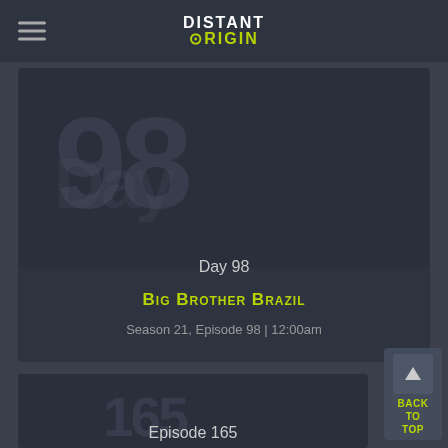DISTANT ORIGIN
[Figure (screenshot): Dark card showing Big Brother Brazil episode thumbnail with text Day 98]
Day 98
Big Brother Brazil
Season 21, Episode 98  |  12:00am
[Figure (screenshot): Dark card showing episode thumbnail with text Episode 165]
Episode 165
BACK TO TOP